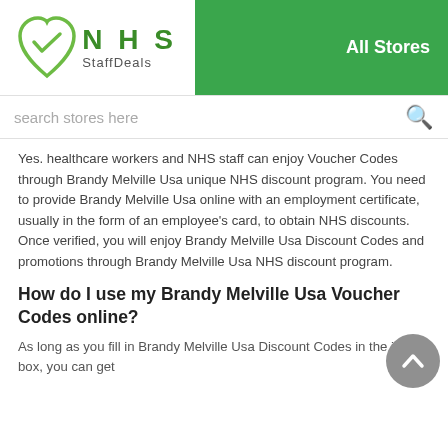[Figure (logo): NHS StaffDeals logo — green heart with checkmark and green text 'N H S StaffDeals']
All Stores
search stores here
Yes. healthcare workers and NHS staff can enjoy Voucher Codes through Brandy Melville Usa unique NHS discount program. You need to provide Brandy Melville Usa online with an employment certificate, usually in the form of an employee's card, to obtain NHS discounts. Once verified, you will enjoy Brandy Melville Usa Discount Codes and promotions through Brandy Melville Usa NHS discount program.
How do I use my Brandy Melville Usa Voucher Codes online?
As long as you fill in Brandy Melville Usa Discount Codes in the input box, you can get